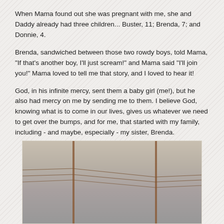When Mama found out she was pregnant with me, she and Daddy already had three children... Buster, 11; Brenda, 7; and Donnie, 4.
Brenda, sandwiched between those two rowdy boys, told Mama, "If that's another boy, I'll just scream!" and Mama said "I'll join you!" Mama loved to tell me that story, and I loved to hear it!
God, in his infinite mercy, sent them a baby girl (me!), but he also had mercy on me by sending me to them. I believe God, knowing what is to come in our lives, gives us whatever we need to get over the bumps, and for me, that started with my family, including - and maybe, especially - my sister, Brenda.
[Figure (photo): Old photograph showing utility poles with wires against a grey sky background. Vintage/aged photo with warm tones.]